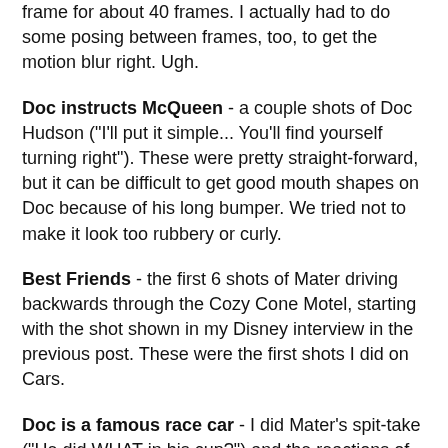frame for about 40 frames. I actually had to do some posing between frames, too, to get the motion blur right. Ugh.
Doc instructs McQueen - a couple shots of Doc Hudson ("I'll put it simple... You'll find yourself turning right"). These were pretty straight-forward, but it can be difficult to get good mouth shapes on Doc because of his long bumper. We tried not to make it look too rubbery or curly.
Best Friends - the first 6 shots of Mater driving backwards through the Cozy Cone Motel, starting with the shot shown in my Disney interview in the previous post. These were the first shots I did on Cars.
Doc is a famous race car - I did Mater's spit-take ("He did WHAT in his cup?") and the reactions of the other cars at Flo's (Sheriff "Well you are looking a little peekid"). I also did Doc Hudson watching from his window as the other cars doubt his racing past. A lot of characters to handle but still fun. It's always nice to have a great punchline to work with, too.
New Tire...